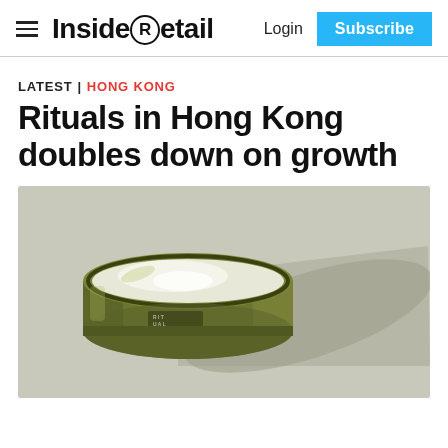Inside Retail | Login | Subscribe
LATEST | HONG KONG
Rituals in Hong Kong doubles down on growth
[Figure (photo): Open green glass jar of Rituals cosmetic product (body cream/scrub) photographed from above-side angle on a light grey surface, casting a long shadow to the right.]